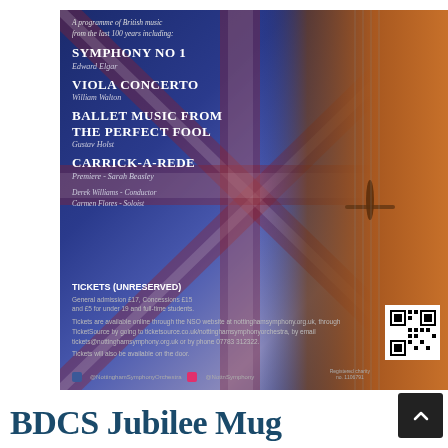[Figure (illustration): Concert poster for Nottingham Symphony Orchestra featuring a violin against a Union Jack background. Programme of British music including Symphony No 1 by Edward Elgar, Viola Concerto by William Walton, Ballet Music from The Perfect Fool by Gustav Holst, and Carrick-a-Rede (Premiere) by Sarah Beasley. Conductor Derek Williams, Soloist Carmen Flores. Ticket information included with QR code and social media handles.]
BDCS Jubilee Mug